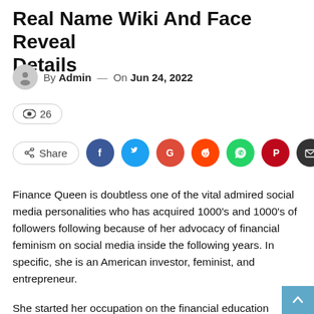Real Name Wiki And Face Reveal Details
By Admin — On Jun 24, 2022
👁 26
Share (social icons: Facebook, Twitter, Google, Reddit, WhatsApp, Pinterest, Email)
Finance Queen is doubtless one of the vital admired social media personalities who has acquired 1000's and 1000's of followers following because of her advocacy of financial feminism on social media inside the following years. In specific, she is an American investor, feminist, and entrepreneur.
She started her occupation on the financial education weblog on the youthful age of twenty-two. Further, she started saving money in path of a goal of massing $100,000